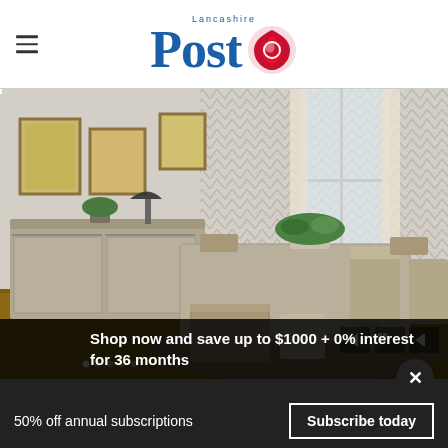Lancashire Post
[Figure (photo): Dining room furniture set with rustic wooden table, chairs, bench, and sideboard with barn door hardware, decorated with plants and framed artwork]
Shop now and save up to $1000 + 0% interest for 36 months
50% off annual subscriptions
Subscribe today